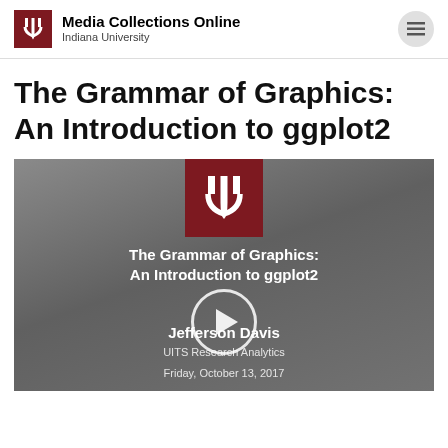Media Collections Online — Indiana University
The Grammar of Graphics: An Introduction to ggplot2
[Figure (screenshot): Video thumbnail showing IU trident logo on dark background with title 'The Grammar of Graphics: An Introduction to ggplot2', presenter Jefferson Davis, UITS Research Analytics, Friday, October 13, 2017, and a play button overlay]